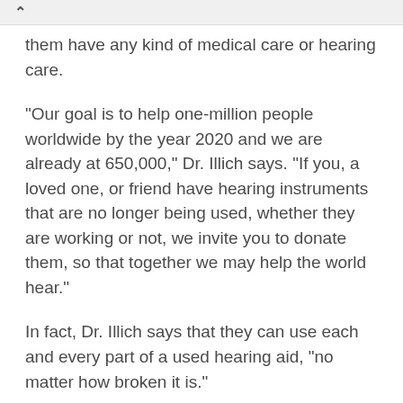them have any kind of medical care or hearing care.
"Our goal is to help one-million people worldwide by the year 2020 and we are already at 650,000," Dr. Illich says. "If you, a loved one, or friend have hearing instruments that are no longer being used, whether they are working or not, we invite you to donate them, so that together we may help the world hear."
In fact, Dr. Illich says that they can use each and every part of a used hearing aid, “no matter how broken it is.”
Hearing aids will be collected at Palomar Medical Center, 2185 Citracado Parkway in